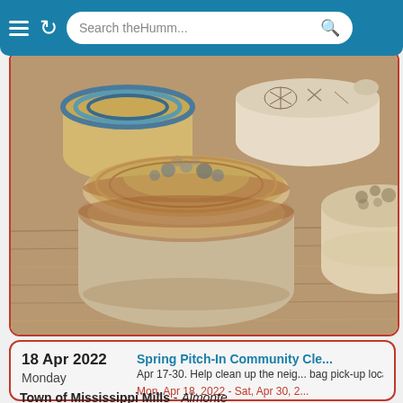Search theHumm...
[Figure (photo): Photograph of several handmade pottery ceramic bowls/jars with lids displayed on a wooden surface. The pottery features various glazes including blue-grey stripes, botanical motifs, and warm brown/cream tones.]
18 Apr 2022
Monday
Spring Pitch-In Community Cle...
Apr 17-30. Help clean up the neig... bag pick-up locations, see missis... call 256-1077.
Mon, Apr 18, 2022 - Sat, Apr 30, 2...
Town of Mississippi Mills - Almonte